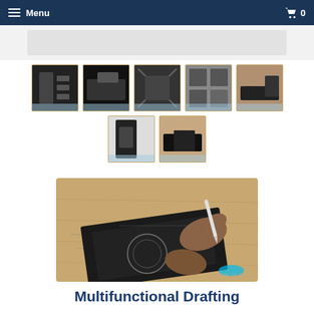Menu   🛒 0
[Figure (photo): Product thumbnail gallery showing a multifunctional drafting angle ruler from various angles — 7 small thumbnail images arranged in two rows]
[Figure (photo): Main product photo: hands using a black multifunctional drafting angle ruler on a wooden surface, with a stylus/pen marking the wood. Logo watermark visible at bottom right.]
Multifunctional Drafting Angle Ruler